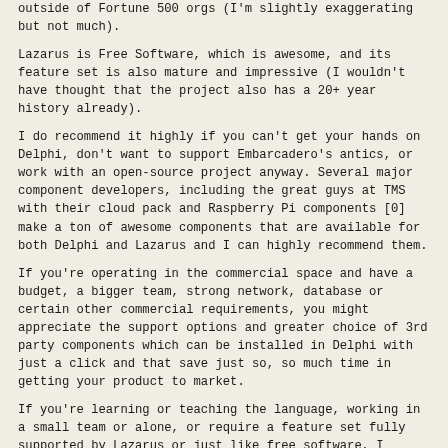outside of Fortune 500 orgs (I'm slightly exaggerating but not much).
Lazarus is Free Software, which is awesome, and its feature set is also mature and impressive (I wouldn't have thought that the project also has a 20+ year history already).
I do recommend it highly if you can't get your hands on Delphi, don't want to support Embarcadero's antics, or work with an open-source project anyway. Several major component developers, including the great guys at TMS with their cloud pack and Raspberry Pi components [0] make a ton of awesome components that are available for both Delphi and Lazarus and I can highly recommend them.
If you're operating in the commercial space and have a budget, a bigger team, strong network, database or certain other commercial requirements, you might appreciate the support options and greater choice of 3rd party components which can be installed in Delphi with just a click and that save just so, so much time in getting your product to market.
If you're learning or teaching the language, working in a small team or alone, or require a feature set fully supported by Lazarus or just like free software, I wholeheartedly recommend Lazarus as a great alternative indeed. If you're somehow in the middle, check out the Delphi Community Edition too and just find out what suits you better. I guess it also comes down to what you're used to...